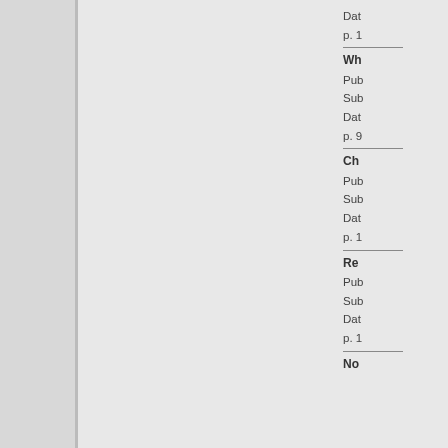Dat
p. 1
Wh
Pub
Sub
Dat
p. 9
Ch
Pub
Sub
Dat
p. 1
Re
Pub
Sub
Dat
p. 1
No